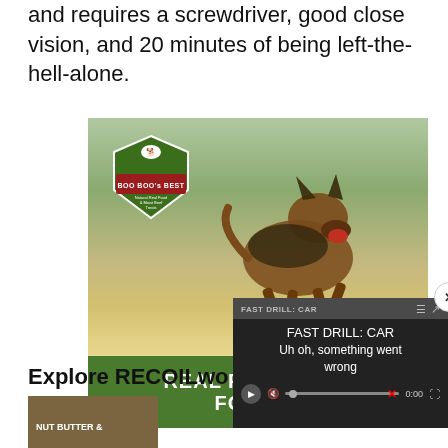and requires a screwdriver, good close vision, and 20 minutes of being left-the-hell-alone.
[Figure (photo): Advertisement for Boo Boo's Best dog food showing a German Shepherd running, with green banner reading REAL FOOD FUEL FOR THI[S]]
Explore RECOILwo[rld]
[Figure (screenshot): Video overlay popup showing 'FAST DRILL: CAR' title with error message 'Uh oh, something went wrong' and video player controls at 0:00]
[Figure (photo): Thumbnail image at bottom left showing NUT BUTTER & [something]]